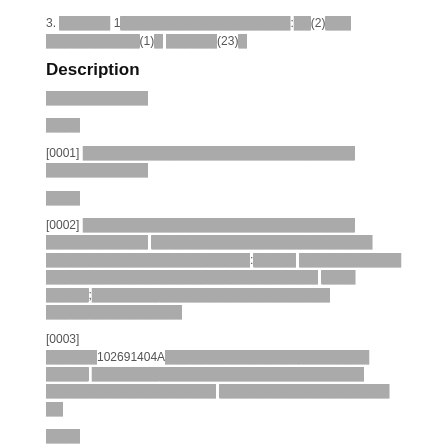3. █████ 1████████████████████:██(2)███ ███████████(1)█ ██████(23)█
Description
████████████
████
[0001] ████████████████████████████████ ████████████
████
[0002] ████████████████████████████████ ████████████ ██████████████████████████ ████████████████████████:█████ ████████████ ████████████████████████████████ ████ █████;████████████████████████████ ████████████████
[0003] ██████102691404A████████████████████████ █████ ████████████████████████████████ ████████████████████ ████████████████████ ██
████